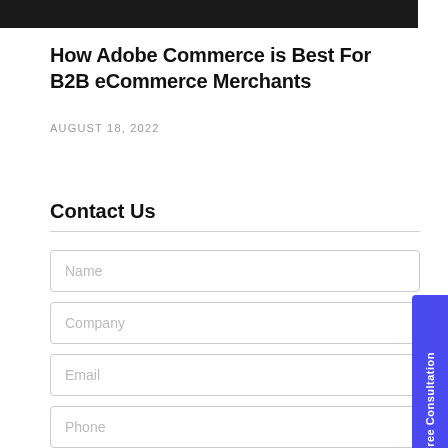[Figure (photo): Dark/black banner image at top of page]
How Adobe Commerce is Best For B2B eCommerce Merchants
AUGUST 18, 2022
Contact Us
Name
Company
Email
Phone